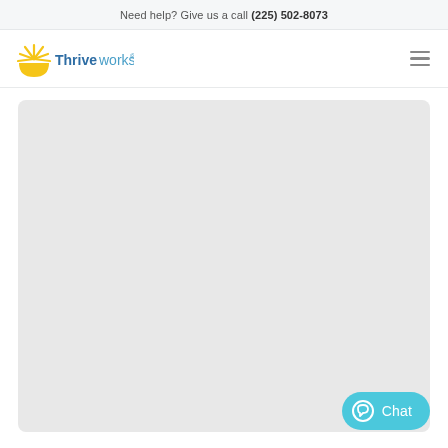Need help? Give us a call (225) 502-8073
[Figure (logo): Thriveworks logo with sun/rays icon and blue text]
[Figure (other): Large light gray placeholder content box]
[Figure (other): Teal chat button with circle-chat icon and text 'Chat']